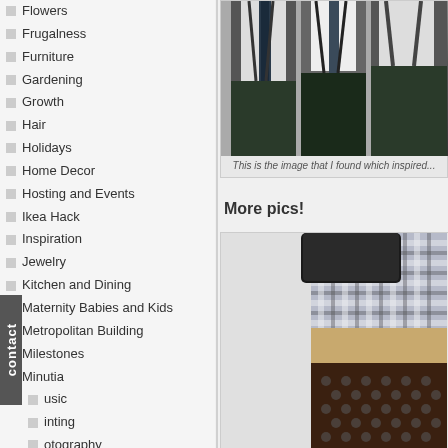Flowers
Frugalness
Furniture
Gardening
Growth
Hair
Holidays
Home Decor
Hosting and Events
Ikea Hack
Inspiration
Jewelry
Kitchen and Dining
Maternity Babies and Kids
Metropolitan Building
Milestones
Minutia
Music
Painting
Photography
Planning
Rent 101
Products
Renovations
Sewing
Travel
Trends
Uncategorized
[Figure (photo): Photo of men in suits with ties and suspenders, cropped at torso level]
This is the image that I found which inspired...
More pics!
[Figure (photo): Close-up photo of layered fabric swatches including checked, polka dot, and striped patterns]